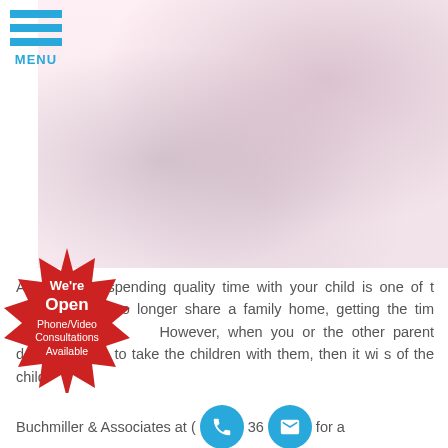[Figure (photo): Faded/washed-out photo of a parent and child playing on a bed, blurred background with pink/lavender tones]
As a parent, spending quality time with your child is one of t[he most important things you can do. But] when parents no longer share a family home, getting the tim[e you deserve with your child can be a] cha[llenge]. However, when you or the other parent decides [to relocate and] wants to take the children with them, then it wi[ll need to be in the best interest]s of the child.
[Contact Buchmiller & Associates at (]36[…] for a[…]